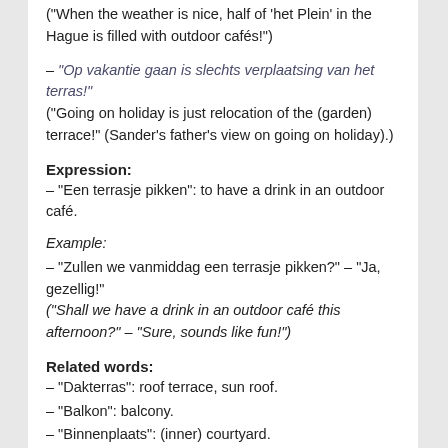("When the weather is nice, half of 'het Plein' in the Hague is filled with outdoor cafés!")
– "Op vakantie gaan is slechts verplaatsing van het terras!" ("Going on holiday is just relocation of the (garden) terrace!" (Sander's father's view on going on holiday).)
Expression:
– "Een terrasje pikken": to have a drink in an outdoor café.
Example:
– "Zullen we vanmiddag een terrasje pikken?" – "Ja, gezellig!" ("Shall we have a drink in an outdoor café this afternoon?" – "Sure, sounds like fun!")
Related words:
– "Dakterras": roof terrace, sun roof.
– "Balkon": balcony.
– "Binnenplaats": (inner) courtyard.
This entry was posted in Dutch word of the day, DWOTD 1.0